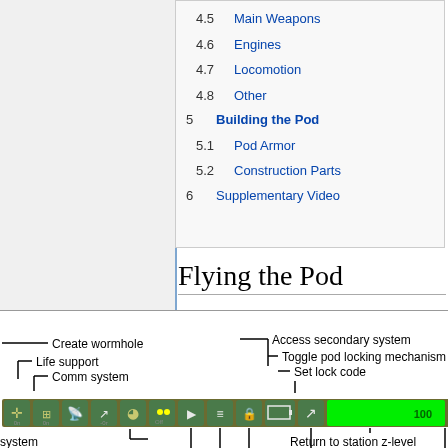4.5 Main Weapons
4.6 Engines
4.7 Locomotion
4.8 Other
5 Building the Pod
5.1 Pod Armor
5.2 Construction Parts
6 Supplementary Video
Flying the Pod
[Figure (schematic): Annotated diagram of a pod control interface showing labeled controls: Create wormhole, Life support, Comm system, Access secondary system, Toggle pod locking mechanism, Set lock code, Return to station z-level. A row of green icon buttons with a green health/status bar showing 100.]